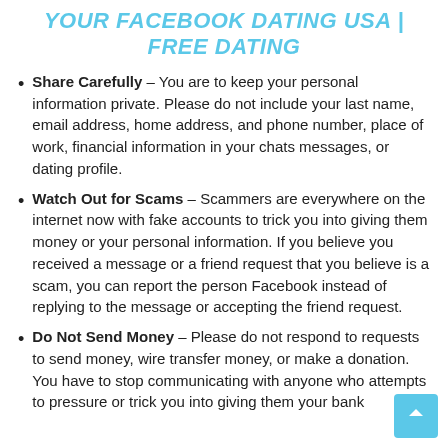YOUR FACEBOOK DATING USA | FREE DATING
Share Carefully – You are to keep your personal information private. Please do not include your last name, email address, home address, and phone number, place of work, financial information in your chats messages, or dating profile.
Watch Out for Scams – Scammers are everywhere on the internet now with fake accounts to trick you into giving them money or your personal information. If you believe you received a message or a friend request that you believe is a scam, you can report the person Facebook instead of replying to the message or accepting the friend request.
Do Not Send Money – Please do not respond to requests to send money, wire transfer money, or make a donation. You have to stop communicating with anyone who attempts to pressure or trick you into giving them your bank